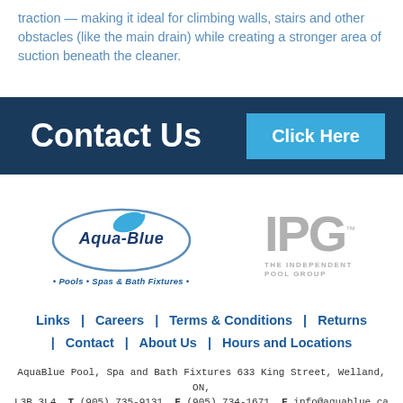traction — making it ideal for climbing walls, stairs and other obstacles (like the main drain) while creating a stronger area of suction beneath the cleaner.
Contact Us
[Figure (logo): Aqua-Blue Pools, Spas & Bath Fixtures logo with oval border and dolphin graphic]
[Figure (logo): IPG - The Independent Pool Group logo in grey]
Links  |  Careers  |  Terms & Conditions  |  Returns  |  Contact  |  About Us  |  Hours and Locations
AquaBlue Pool, Spa and Bath Fixtures 633 King Street, Welland, ON, L3B 3L4  T (905) 735-9131  F (905) 734-1671  E info@aquablue.ca